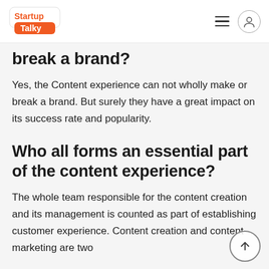StartupTalky
break a brand?
Yes, the Content experience can not wholly make or break a brand. But surely they have a great impact on its success rate and popularity.
Who all forms an essential part of the content experience?
The whole team responsible for the content creation and its management is counted as part of establishing customer experience. Content creation and content marketing are two